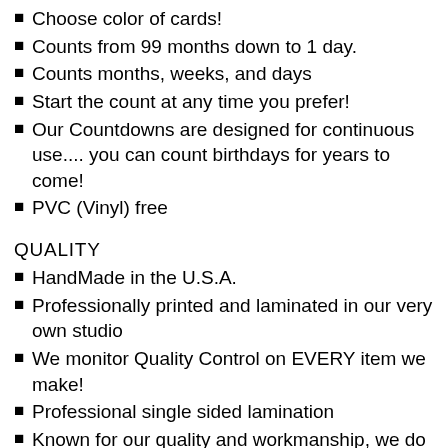Choose color of cards!
Counts from 99 months down to 1 day.
Counts months, weeks, and days
Start the count at any time you prefer!
Our Countdowns are designed for continuous use.... you can count birthdays for years to come!
PVC (Vinyl) free
QUALITY
HandMade in the U.S.A.
Professionally printed and laminated in our very own studio
We monitor Quality Control on EVERY item we make!
Professional single sided lamination
Known for our quality and workmanship, we do our best to source materials from the U.S.A., Canada, and E...